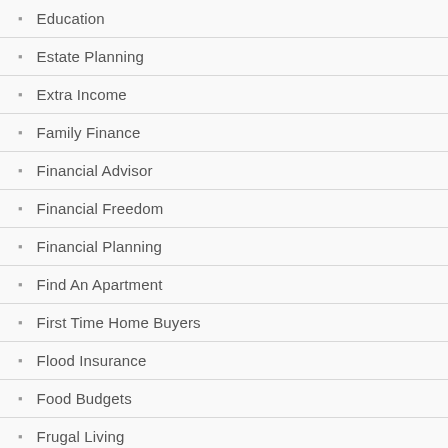Education
Estate Planning
Extra Income
Family Finance
Financial Advisor
Financial Freedom
Financial Planning
Find An Apartment
First Time Home Buyers
Flood Insurance
Food Budgets
Frugal Living